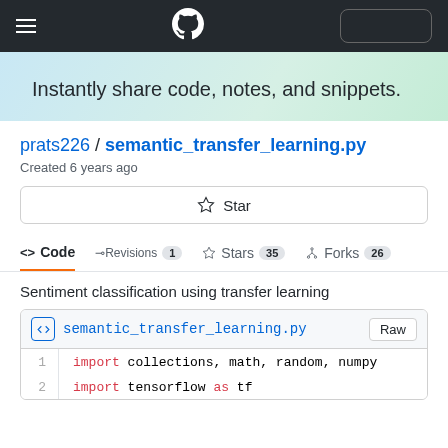GitHub navigation bar with hamburger menu, GitHub logo, and sign-in button
Instantly share code, notes, and snippets.
prats226 / semantic_transfer_learning.py
Created 6 years ago
☆ Star
Code | Revisions 1 | Stars 35 | Forks 26
Sentiment classification using transfer learning
semantic_transfer_learning.py  Raw
1  import collections, math, random, numpy
2  import tensorflow as tf